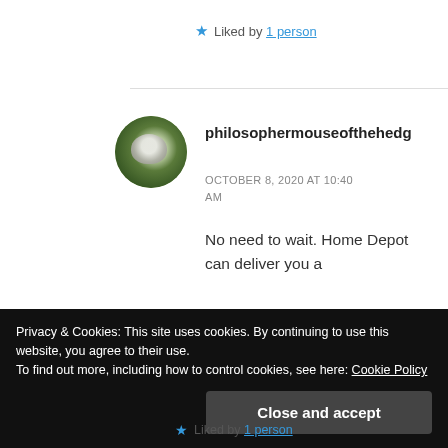★ Liked by 1 person
philosophermouseofthehedg
OCTOBER 8, 2020 AT 10:40 AM
No need to wait. Home Depot can deliver you a
Privacy & Cookies: This site uses cookies. By continuing to use this website, you agree to their use.
To find out more, including how to control cookies, see here: Cookie Policy
Close and accept
★ Liked by 1 person